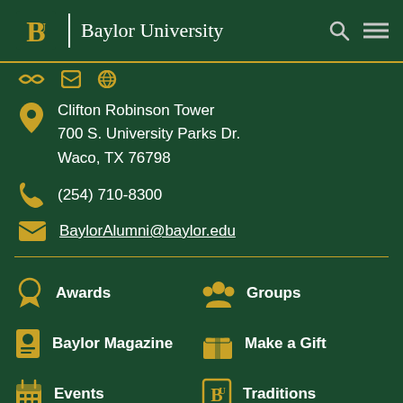Baylor University
Clifton Robinson Tower
700 S. University Parks Dr.
Waco, TX 76798
(254) 710-8300
BaylorAlumni@baylor.edu
Awards
Groups
Baylor Magazine
Make a Gift
Events
Traditions